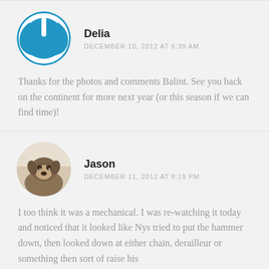Delia
DECEMBER 10, 2012 AT 6:39 AM
Thanks for the photos and comments Balint. See you back on the continent for more next year (or this season if we can find time)!
Jason
DECEMBER 11, 2012 AT 8:19 PM
I too think it was a mechanical. I was re-watching it today and noticed that it looked like Nys tried to put the hammer down, then looked down at either chain, derailleur or something then sort of raise his